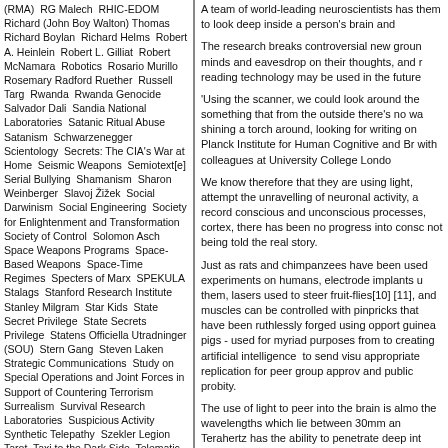(RMA)  RG Malech  RHIC-EDOM  Richard (John Boy Walton) Thomas  Richard Boylan  Richard Helms  Robert A. Heinlein  Robert L. Gilliat  Robert McNamara  Robotics  Rosario Murillo  Rosemary Radford Ruether  Russell Targ  Rwanda  Rwanda Genocide  Salvador Dali  Sandia National Laboratories  Satanic Ritual Abuse  Satanism  Schwarzenegger  Scientology  Secrets: The CIA's War at Home  Seismic Weapons  Semiotext[e]  Serial Bullying  Shamanism  Sharon Weinberger  Slavoj Žižek  Social Darwinism  Social Engineering  Society for Enlightenment and Transformation  Society of Control  Solomon Asch  Space Weapons Programs  Space-Based Weapons  Space-Time Regimes  Specters of Marx  SPEKULA  Stalags  Stanford Research Institute  Stanley Milgram  Star Kids  State Secret Privilege  State Secrets Privilege  Statens Officiella Utradninger (SOU)  Stern Gang  Steven Laken  Strategic Communications  Study on Special Operations and Joint Forces in Support of Countering Terrorism  Surrealism  Survival Research Laboratories  Suspicious Activity  Synthetic Telepathy  Szekler Legion  Tarot  Taxi to the Dark Side  Telematic Embrace  Temple of
A team of world-leading neuroscientists has them to look deep inside a person's brain and

The research breaks controversial new groun minds and eavesdrop on their thoughts, and r reading technology may be used in the future

'Using the scanner, we could look around the something that from the outside there's no wa shining a torch around, looking for writing on Planck Institute for Human Cognitive and Br with colleagues at University College London

We know therefore that they are using light, attempt the unravelling of neuronal activity, a record conscious and unconscious processes, cortex, there has been no progress into consco not being told the real story.

Just as rats and chimpanzees have been used experiments on humans, electrode implants u them, lasers used to steer fruit-flies[10] [11], and muscles can be controlled with pinpricks that have been ruthlessly forged using opport guinea pigs - used for myriad purposes from to creating artificial intelligence to send visu appropriate replication for peer group approv and public probity.

The use of light to peer into the brain is almo the wavelengths which lie between 30mm an Terahertz has the ability to penetrate deep int damage associated with ionising radiation su materials with varying water content – for ex lend themselves to applications in process an imaging. Terahertz can penetrate bricks and